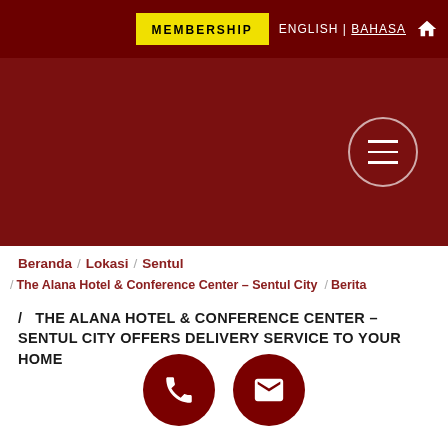MEMBERSHIP | ENGLISH | BAHASA
[Figure (screenshot): Dark red banner area with hamburger menu circle icon on the right]
Beranda / Lokasi / Sentul / The Alana Hotel & Conference Center – Sentul City / Berita / THE ALANA HOTEL & CONFERENCE CENTER – SENTUL CITY OFFERS DELIVERY SERVICE TO YOUR HOME
THE ALANA HOTEL & CONFERENCE CENTER – SENTUL CITY OFFERS DELIVERY SERVICE TO YOUR HOME
[Figure (infographic): Two dark red circular buttons at the bottom: phone icon and mail/envelope icon]